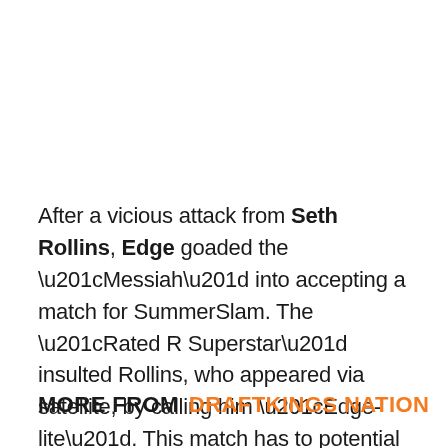After a vicious attack from Seth Rollins, Edge goaded the “Messiah” into accepting a match for SummerSlam. The “Rated R Superstar” insulted Rollins, who appeared via satellite, by calling him “Edge-lite”. This match has to potential to steal the show in Las Vegas so we’ll see how they continue the build towards it.
MORE FROM DRAFTKINGS NATION